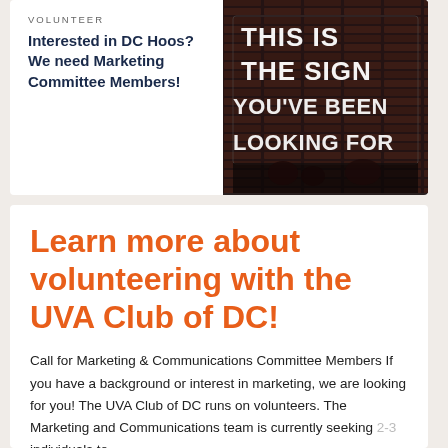VOLUNTEER
Interested in DC Hoos? We need Marketing Committee Members!
[Figure (photo): Neon sign on brick wall reading THIS IS THE SIGN YOU'VE BEEN LOOKING FOR]
Learn more about volunteering with the UVA Club of DC!
Call for Marketing & Communications Committee Members If you have a background or interest in marketing, we are looking for you! The UVA Club of DC runs on volunteers. The Marketing and Communications team is currently seeking 2-3 individuals to